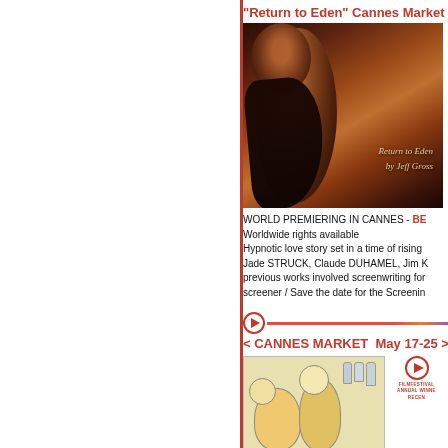"Return to Eden" Cannes Market
[Figure (photo): Dark atmospheric film still showing a person with long dark hair, warm orange/brown tones, with text overlay reading 'Return to Eden by Jeff Gross']
WORLD PREMIERING IN CANNES - BE... Worldwide rights available Hypnotic love story set in a time of rising... Jade STRUCK, Claude DUHAMEL, Jim K... previous works involved screenwriting for... screener / Save the date for the Screenin...
[Figure (logo): Circular logo icon (film festival logo)]
< CANNES MARKET  May 17-25 >
[Figure (illustration): Cartoon/illustration image of clown or festive characters, with a FilmFestival Annual Winner logo in bottom right corner]